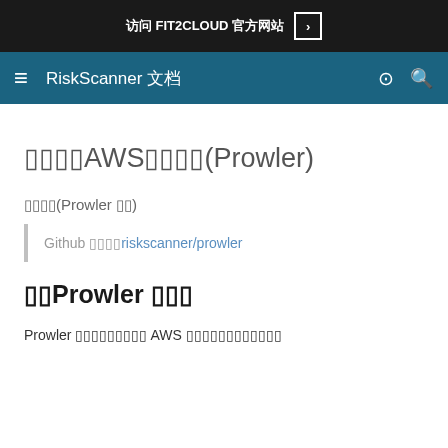访问 FIT2CLOUD 官方网站 >
≡ RiskScanner 文档 ☼ 🔍
添加扫描AWS账号配置(Prowler)
前提条件(Prowler 方式)
Github 访问地址：riskscanner/prowler
启用Prowler 扫描规则
Prowler 是一款开源的可扫描 AWS 基础设施的合规扫描工具，具体介绍